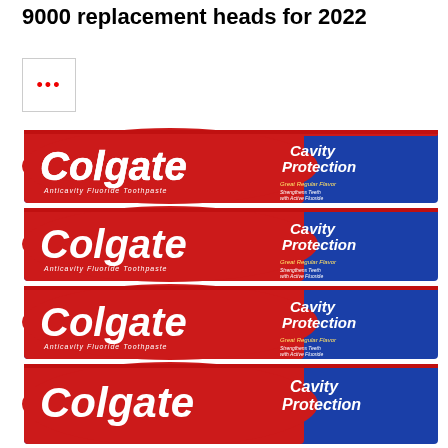9000 replacement heads for 2022
[Figure (photo): Small thumbnail placeholder with red ellipsis dots, bordered box]
[Figure (photo): Four stacked Colgate Cavity Protection Anticavity Fluoride Toothpaste boxes (Great Regular Flavor) shown in a repeated product listing layout]